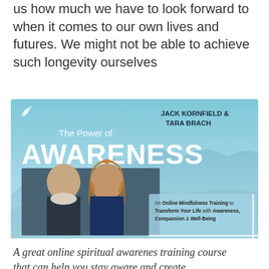us how much we have to look forward to when it comes to our own lives and futures. We might not be able to achieve such longevity ourselves
[Figure (illustration): Promotional banner for 'The Power of Awareness' online mindfulness training course by Jack Kornfield & Tara Brach. Features photos of both instructors against a blue mountain/sky background. Text includes: 'The Power of AWARENESS', 'JACK KORNFIELD & TARA BRACH', 'An Online Mindfulness Training to Transform Your Life with Awareness, Compassion & Well-Being'.]
A great online spiritual awarenes training course that can help you stay aware and create